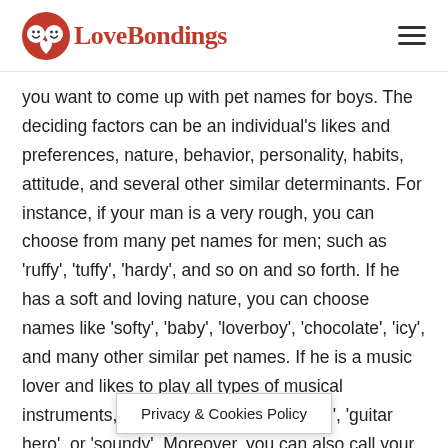LoveBondings
you want to come up with pet names for boys. The deciding factors can be an individual's likes and preferences, nature, behavior, personality, habits, attitude, and several other similar determinants. For instance, if your man is a very rough, you can choose from many pet names for men; such as 'ruffy', 'tuffy', 'hardy', and so on and so forth. If he has a soft and loving nature, you can choose names like 'softy', 'baby', 'loverboy', 'chocolate', 'icy', and many other similar pet names. If he is a music lover and likes to play all types of musical instruments, you can choose 'musicman', 'guitar hero', or 'soundy'. Moreover, you can also call your man using multiple nicknames, depending on the circumstances. If he is angry and you want to cool him down, you ... if he is happy, you
Privacy & Cookies Policy